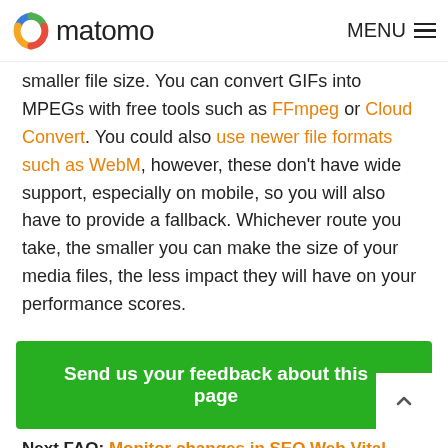matomo | MENU
smaller file size. You can convert GIFs into MPEGs with free tools such as FFmpeg or Cloud Convert. You could also use newer file formats such as WebM, however, these don't have wide support, especially on mobile, so you will also have to provide a fallback. Whichever route you take, the smaller you can make the size of your media files, the less impact they will have on your performance scores.
Send us your feedback about this page
Next FAQ: Monitor changes in SEO Web Vital